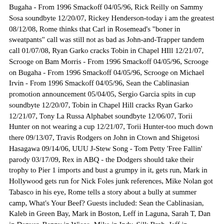Bugaha - From 1996 Smackoff 04/05/96, Rick Reilly on Sammy Sosa soundbyte 12/20/07, Rickey Henderson-today i am the greatest 08/12/08, Rome thinks that Carl in Rosemead's "boner in sweatpants" call was still not as bad as John-and-Trapper tandem call 01/07/08, Ryan Garko cracks Tobin in Chapel HIll 12/21/07, Scrooge on Bam Morris - From 1996 Smackoff 04/05/96, Scrooge on Bugaha - From 1996 Smackoff 04/05/96, Scrooge on Michael Irvin - From 1996 Smackoff 04/05/96, Sean the Cablinasian promotion announcement 05/04/05, Sergio Garcia spits in cup soundbyte 12/20/07, Tobin in Chapel Hill cracks Ryan Garko 12/21/07, Tony La Russa Alphabet soundbyte 12/06/07, Torii Hunter on not wearing a cup 12/21/07, Torii Hunter-too much down there 09/13/07, Travis Rodgers on John in Ctown and Shigetosi Hasagawa 09/14/06, UUU J-Stew Song - Tom Petty 'Free Fallin' parody 03/17/09, Rex in ABQ - the Dodgers should take their trophy to Pier 1 imports and bust a grumpy in it, gets run, Mark in Hollywood gets run for Nick Foles junk references, Mike Nolan got Tabasco in his eye, Rome tells a story about a bully at summer camp, What's Your Beef? Guests included: Sean the Cablinasian, Kaleb in Green Bay, Mark in Boston, Leff in Laguna, Sarah T, Dan in Denver, Benny in Wisco, Mike in Indy, Silk Brah, Jeff in Southfield, and more! I tried taking out the "Rome Hates-" and "Rome and-" and "Rome Loves" from all of the regular bits lines.
Jim Rome Audio Archive Stucknut Radio: Smackoff 26 Wrap-up